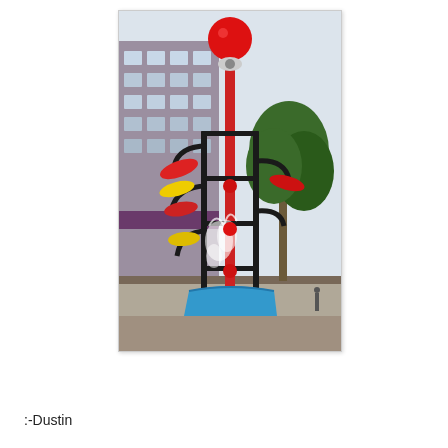[Figure (photo): Outdoor kinetic or decorative sculpture on a city street. The tall metal structure has a central red vertical pole with black metal framing around it. Colorful elements are attached — a large red sphere at the top, yellow and red fish/bird-like shapes, a blue trough or basin near the bottom, and water splashing from various points. The background shows a multi-story building (grey/purple facade with windows) and a green tree. One or two pedestrians are visible in the far background.]
:-Dustin